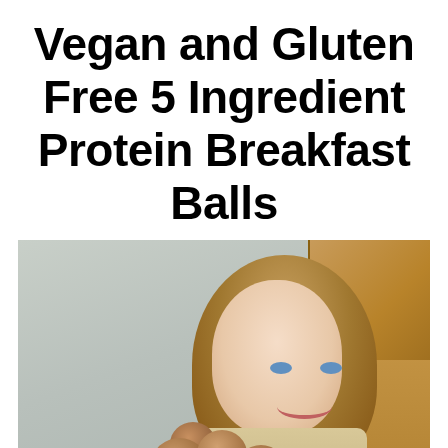Vegan and Gluten Free 5 Ingredient Protein Breakfast Balls
[Figure (photo): A woman with long reddish-blonde hair smiling and holding a red plate piled with round protein breakfast balls, standing in a kitchen with wooden cabinets in the background.]